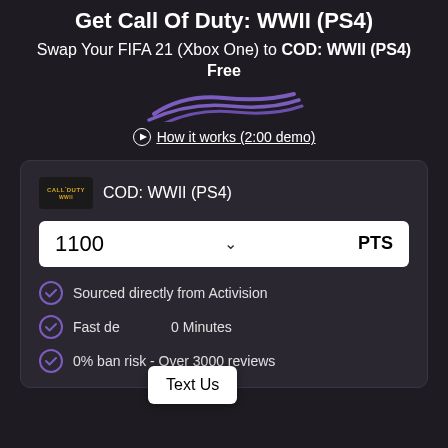Get Call Of Duty: WWII (PS4)
Swap Your FIFA 21 (Xbox One) to COD: WWII (PS4) Free
[Figure (illustration): Purple decorative squiggle/underline strokes]
How it works (2:00 demo)
COD: WWII (PS4)
1100 PTS
Sourced directly from Activision
Fast de[livery] 0 Minutes
Text Us
0% ban risk - Over 3000 reviews